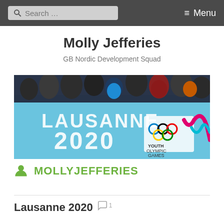Search ... Menu
Molly Jefferies
GB Nordic Development Squad
[Figure (photo): Photo of crowds leaning over blue barriers branded with LAUSANNE 2020 and Youth Olympic Games logos and rings]
MOLLYJEFFERIES
Lausanne 2020 1